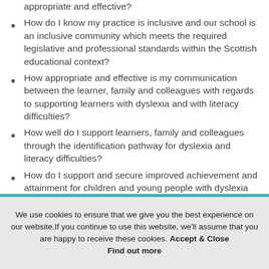appropriate and effective? (partial, top of page)
How do I know my practice is inclusive and our school is an inclusive community which meets the required legislative and professional standards within the Scottish educational context?
How appropriate and effective is my communication between the learner, family and colleagues with regards to supporting learners with dyslexia and with literacy difficulties?
How well do I support learners, family and colleagues through the identification pathway for dyslexia and literacy difficulties?
How do I support and secure improved achievement and attainment for children and young people with dyslexia and with literacy difficulties?
We use cookies to ensure that we give you the best experience on our website. If you continue to use this website, we'll assume that you are happy to receive these cookies. Accept & Close Find out more